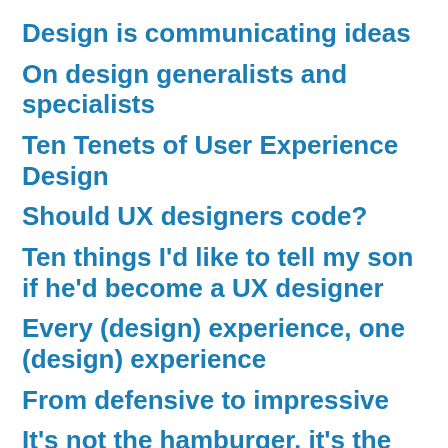Design is communicating ideas
On design generalists and specialists
Ten Tenets of User Experience Design
Should UX designers code?
Ten things I'd like to tell my son if he'd become a UX designer
Every (design) experience, one (design) experience
From defensive to impressive
It's not the hamburger, it's the